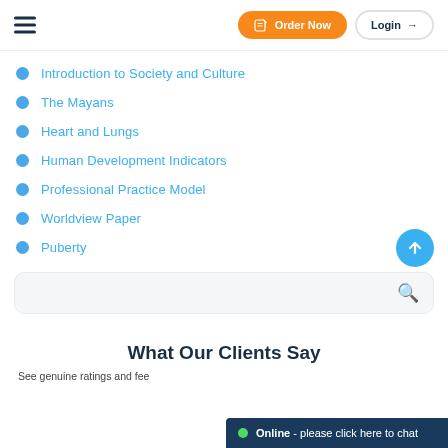Order Now | Login
Introduction to Society and Culture
The Mayans
Heart and Lungs
Human Development Indicators
Professional Practice Model
Worldview Paper
Puberty
What Our Clients Say
See genuine ratings and fee...
Online - please click here to chat